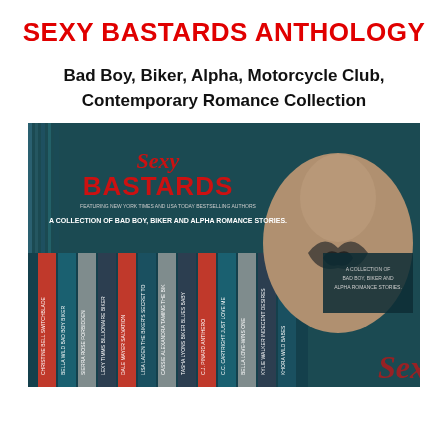SEXY BASTARDS ANTHOLOGY
Bad Boy, Biker, Alpha, Motorcycle Club, Contemporary Romance Collection
[Figure (photo): Book cover image for 'Sexy Bastards Anthology' showing a shirtless tattooed man with a dragon tattoo on his chest, surrounded by book spines listing author names and titles including Christine Bell - Switchblade, Bella Wild - Bad Boy Biker, Sierra Rose - Forbidden, Lexy Timms - Billionaire Biker, Dale Mayer - Salvation, Lisa Laden - The Biker's Secret, Cassie Alexandra - Taming the Bike, Tasha Lyons - Biker Blues Baby, C.J. Pinard - Antihero, C.C. Cartright - Just Love Me, Bella Love-Wins - One, Kylie Walker - Indecent Desires, Khora Wild - Babes. Text on image reads 'Sexy Bastards' in stylized font, 'A Collection of Bad Boy, Biker and Alpha Romance Stories', featuring New York Times and USA Today bestselling authors.]